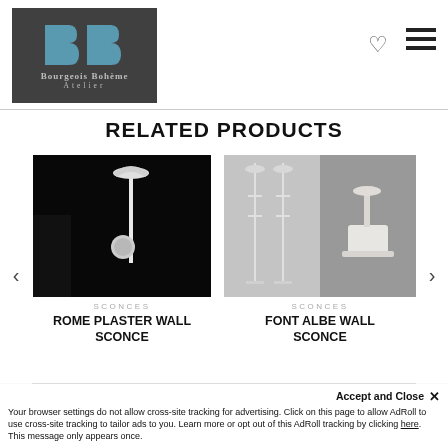[Figure (logo): BourgeoisBohème Atelier logo on dark grey background with stylized BB letterform in teal/blue]
RELATED PRODUCTS
[Figure (photo): Rome Plaster Wall Sconce product photo on black background]
SCONCES
ROME PLASTER WALL SCONCE
[Figure (photo): Font Albe Wall Sconce product photos on grey background]
SCONCES
FONT ALBE WALL SCONCE
Accept and Close ✕
Your browser settings do not allow cross-site tracking for advertising. Click on this page to allow AdRoll to use cross-site tracking to tailor ads to you. Learn more or opt out of this AdRoll tracking by clicking here. This message only appears once.